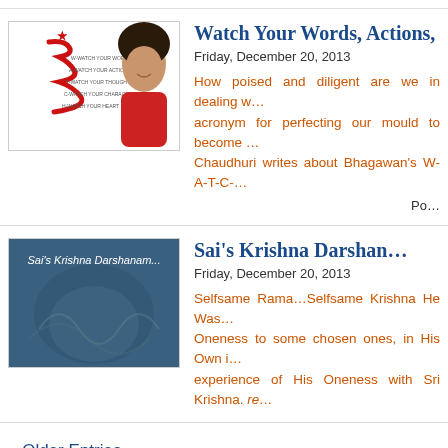[Figure (illustration): Christmas tree illustration with text lines and a photo of Sathya Sai Baba on the right side]
Watch Your Words, Actions, Th…
Friday, December 20, 2013
How poised and diligent are we in dealing w… acronym for perfecting our mould to become … Chaudhuri writes about Bhagawan's W-A-T-C-…
Po…
[Figure (photo): Blue background image with white text reading 'Sai's Krishna Darshanam...' and a faint artistic design]
Sai's Krishna Darshan…
Friday, December 20, 2013
Selfsame Rama…Selfsame Krishna He Was… Oneness to some chosen ones, in His Own i… experience of His Oneness with Sri Krishna. re…
« Older Entries